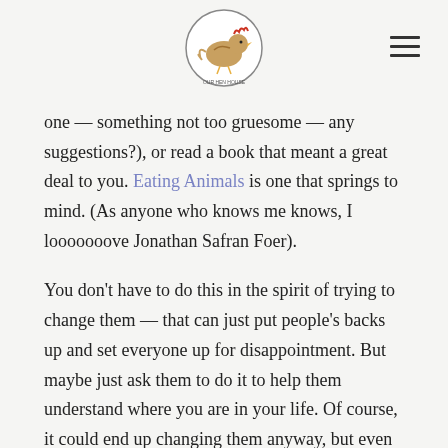[Logo: Our Hen House] [Hamburger menu icon]
one — something not too gruesome — any suggestions?), or read a book that meant a great deal to you. Eating Animals is one that springs to mind. (As anyone who knows me knows, I looooooove Jonathan Safran Foer).
You don't have to do this in the spirit of trying to change them — that can just put people's backs up and set everyone up for disappointment. But maybe just ask them to do it to help them understand where you are in your life. Of course, it could end up changing them anyway, but even if it doesn't, it could open the way to them feeling closer to you and having more respect for your choices. And it could keep you from receiving another wool sweater from your Aunt Ida.